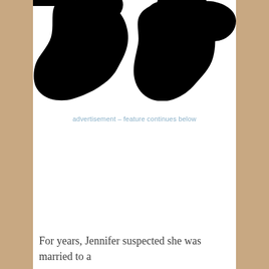[Figure (illustration): Two black silhouettes of people on a white background — on the left a silhouette of a person facing slightly right, on the right a silhouette of a person with arm raised]
advertisement – feature continues below
For years, Jennifer suspected she was married to a